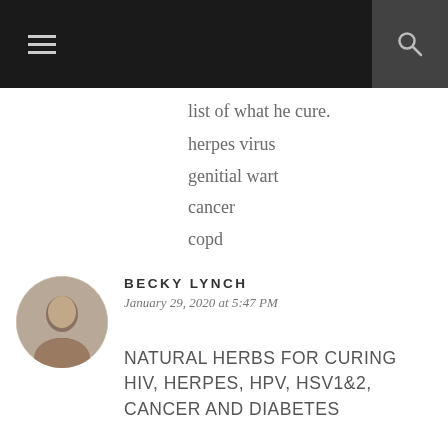Navigation bar with menu and search icons
list of what he cure.
herpes virus
genitial wart
cancer
copd
[Figure (photo): Circular avatar photo of Becky Lynch]
BECKY LYNCH
January 29, 2020 at 5:47 PM
NATURAL HERBS FOR CURING HIV, HERPES, HPV, HSV1&2, CANCER AND DIABETES
I just experience the wonders of Dr Ohunyom